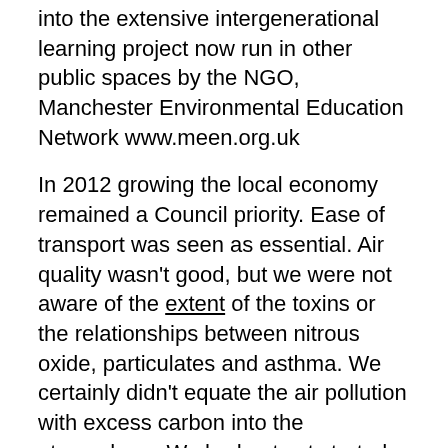into the extensive intergenerational learning project now run in other public spaces by the NGO, Manchester Environmental Education Network www.meen.org.uk
In 2012 growing the local economy remained a Council priority. Ease of transport was seen as essential. Air quality wasn't good, but we were not aware of the extent of the toxins or the relationships between nitrous oxide, particulates and asthma. We certainly didn't equate the air pollution with excess carbon into the atmosphere. We had not yet started to experience the floods or seen the heathlands burst into summer fires. There was a massive amount of public education to be done. We had not even dreamed of Brexit!
In 2015 SERA Manchester members and other FoE activists rode into Paris for the Conference of the Peoples COP 21. We met thousands of other activists from all over the world in social gatherings and